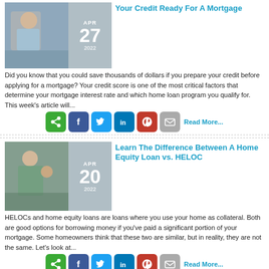[Figure (photo): Person sitting on a stool in a kitchen, top article thumbnail]
Your Credit Ready For A Mortgage
Did you know that you could save thousands of dollars if you prepare your credit before applying for a mortgage? Your credit score is one of the most critical factors that determine your mortgage interest rate and which home loan program you qualify for. This week's article will...
Read More...
[Figure (photo): Woman and child cooking in kitchen, bottom article thumbnail]
Learn The Difference Between A Home Equity Loan vs. HELOC
HELOCs and home equity loans are loans where you use your home as collateral. Both are good options for borrowing money if you've paid a significant portion of your mortgage. Some homeowners think that these two are similar, but in reality, they are not the same. Let's look at...
Read More...